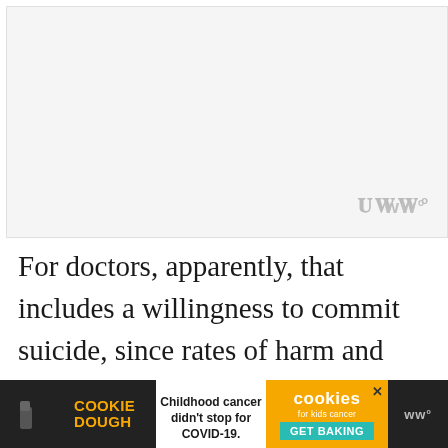[Figure (other): Advertisement banner placeholder, light grey background with watermark-style logo in bottom right corner]
For doctors, apparently, that includes a willingness to commit suicide, since rates of harm and death among doctors from COVID-19 are disproportionally high. That is pretty obviously
Don't miss each new article!
Email Address...
[Figure (other): Bottom advertisement bar: Cookie Dough brand ad with text 'Childhood cancer didn't stop for COVID-19.' and 'cookies for kids cancer GET BAKING' button. Social sidebar with heart/like button showing count of 2 and share button.]